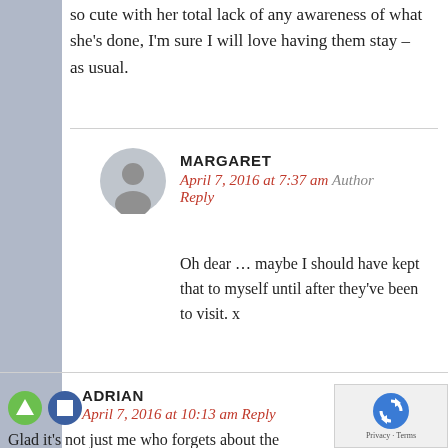so cute with her total lack of any awareness of what she's done, I'm sure I will love having them stay – as usual.
MARGARET
April 7, 2016 at 7:37 am Author Reply
Oh dear … maybe I should have kept that to myself until after they've been to visit. x
ADRIAN
April 7, 2016 at 10:13 am Reply
Glad it's not just me who forgets about the